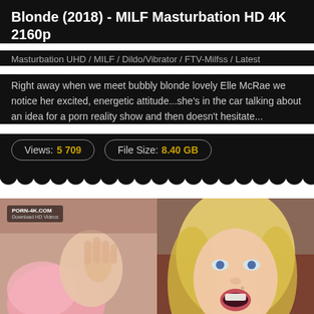Blonde (2018) - MILF Masturbation HD 4K 2160p
Masturbation UHD / MILF / Dildo/Vibrator / FTV-Milfss / Latest
Right away when we meet bubbly blonde lovely Elle McRae we notice her excited, energetic attitude...she's in the car talking about an idea for a porn reality show and then doesn't hesitate...
Views: 5 709   File Size: 8.40 GB
[Figure (photo): Two side-by-side thumbnail images from an adult video. Left thumbnail shows a pink-clothed figure. Right thumbnail shows a blonde woman's face with an open mouth expression. A watermark reading PORN-4K.COM is visible in the top-left corner.]